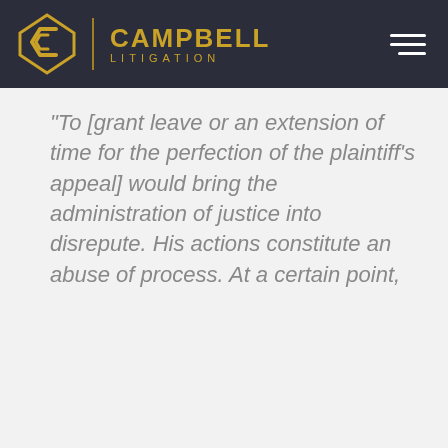[Figure (logo): Campbell Litigation logo with gold geometric diamond/chevron icon and gold text reading CAMPBELL LITIGATION on dark navy background, with hamburger menu icon on the right]
“To [grant leave or an extension of time for the perfection of the plaintiff’s appeal] would bring the administration of justice into disrepute. His actions constitute an abuse of process. At a certain point,